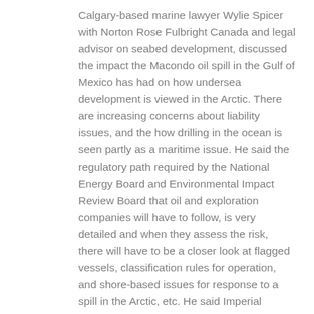Calgary-based marine lawyer Wylie Spicer with Norton Rose Fulbright Canada and legal advisor on seabed development, discussed the impact the Macondo oil spill in the Gulf of Mexico has had on how undersea development is viewed in the Arctic. There are increasing concerns about liability issues, and the how drilling in the ocean is seen partly as a maritime issue. He said the regulatory path required by the National Energy Board and Environmental Impact Review Board that oil and exploration companies will have to follow, is very detailed and when they assess the risk, there will have to be a closer look at flagged vessels, classification rules for operation, and shore-based issues for response to a spill in the Arctic, etc. He said Imperial (Exxon), Chevron and ConocoPhillips all have an interest in Arctic exploration.
Marc Ouellette, Maritime coordinator for the Joint